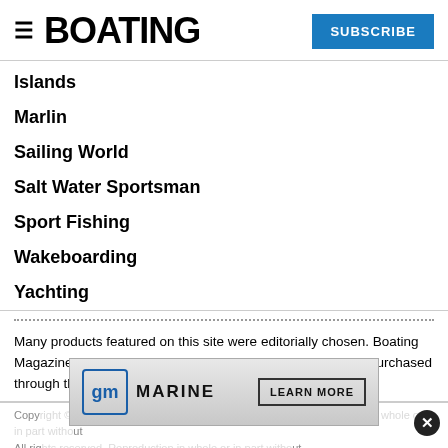BOATING | SUBSCRIBE
Islands
Marlin
Sailing World
Salt Water Sportsman
Sport Fishing
Wakeboarding
Yachting
Many products featured on this site were editorially chosen. Boating Magazine may receive financial compensation for products purchased through this site.
Copyright © 2019 Bonnier Corporation. All rights reserved. Reproduction in whole or in part without permission is prohibited.